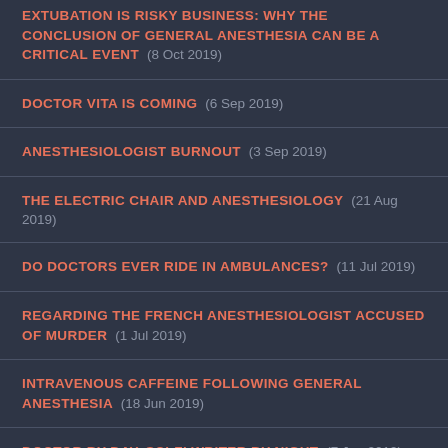EXTUBATION IS RISKY BUSINESS: WHY THE CONCLUSION OF GENERAL ANESTHESIA CAN BE A CRITICAL EVENT  (8 Oct 2019)
DOCTOR VITA IS COMING  (6 Sep 2019)
ANESTHESIOLOGIST BURNOUT  (3 Sep 2019)
THE ELECTRIC CHAIR AND ANESTHESIOLOGY  (21 Aug 2019)
DO DOCTORS EVER RIDE IN AMBULANCES?  (11 Jul 2019)
REGARDING THE FRENCH ANESTHESIOLOGIST ACCUSED OF MURDER  (1 Jul 2019)
INTRAVENOUS CAFFEINE FOLLOWING GENERAL ANESTHESIA  (18 Jun 2019)
DOCTOR BY DAY, SCI-FI WRITER BY NIGHT  (7 Jun 2019)